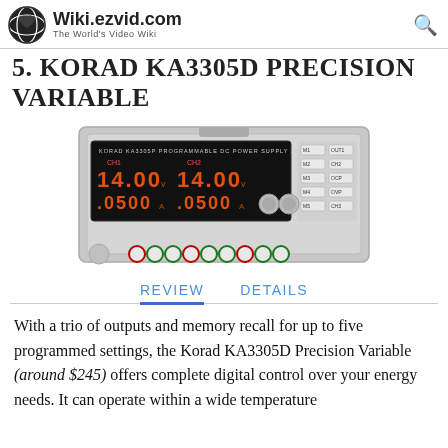Wiki.ezvid.com — The World's Video Wiki
5. Korad KA3305D Precision Variable
[Figure (photo): Photo of the Korad KA3305D programmable DC power supply showing dual digital displays reading 14.00V and 0.500A on each channel, with multiple output terminals and control buttons.]
REVIEW   DETAILS
With a trio of outputs and memory recall for up to five programmed settings, the Korad KA3305D Precision Variable (around $245) offers complete digital control over your energy needs. It can operate within a wide temperature